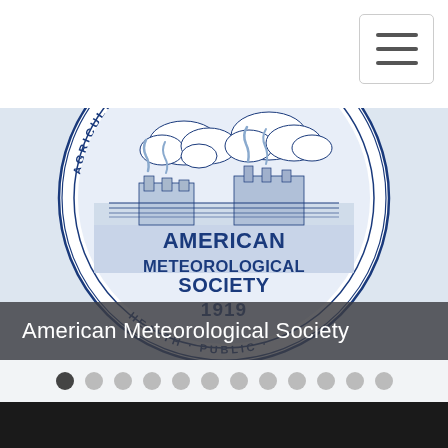[Figure (logo): American Meteorological Society official seal — circular blue-on-white emblem with text 'AMERICAN METEOROLOGICAL SOCIETY 1919' and surrounding text about agriculture, health, marine navigation; industrial scene with smokestacks and clouds in center]
American Meteorological Society
[Figure (other): Carousel navigation dots — 12 dots in a row, first dot is dark/active, remaining 11 are light gray]